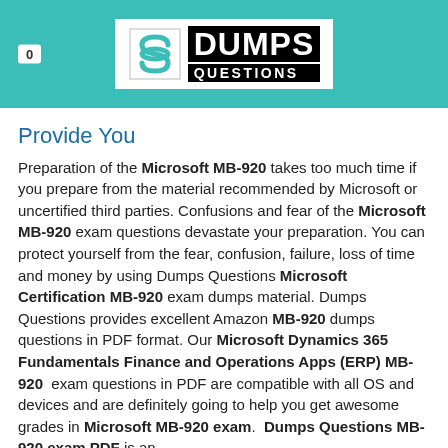0
[Figure (logo): DumpsQuestions logo with teal background, white bordered box, stylized S icon and DUMPS QUESTIONS text in black on white]
Provide You
Preparation of the Microsoft MB-920 takes too much time if you prepare from the material recommended by Microsoft or uncertified third parties. Confusions and fear of the Microsoft MB-920 exam questions devastate your preparation. You can protect yourself from the fear, confusion, failure, loss of time and money by using Dumps Questions Microsoft Certification MB-920 exam dumps material. Dumps Questions provides excellent Amazon MB-920 dumps questions in PDF format. Our Microsoft Dynamics 365 Fundamentals Finance and Operations Apps (ERP) MB-920 exam questions in PDF are compatible with all OS and devices and are definitely going to help you get awesome grades in Microsoft MB-920 exam. Dumps Questions MB-920 exam PDF is an